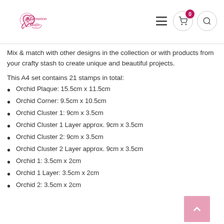Carnation Crafts — website header with logo, hamburger menu, cart (0), and search icons
Mix & match with other designs in the collection or with products from your crafty stash to create unique and beautiful projects.
This A4 set contains 21 stamps in total:
Orchid Plaque: 15.5cm x 11.5cm
Orchid Corner: 9.5cm x 10.5cm
Orchid Cluster 1: 9cm x 3.5cm
Orchid Cluster 1 Layer approx. 9cm x 3.5cm
Orchid Cluster 2: 9cm x 3.5cm
Orchid Cluster 2 Layer approx. 9cm x 3.5cm
Orchid 1: 3.5cm x 2cm
Orchid 1 Layer: 3.5cm x 2cm
Orchid 2: 3.5cm x 2cm